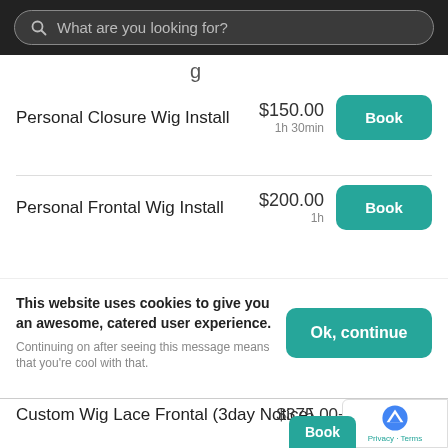What are you looking for?
g
Personal Closure Wig Install
$150.00
1h 30min
Personal Frontal Wig Install
$200.00
1h
This website uses cookies to give you an awesome, catered user experience. Continuing on after seeing this message means that you're cool with that.
Custom Wig Lace Frontal (3day Notice)
$375.00+
4h 30min